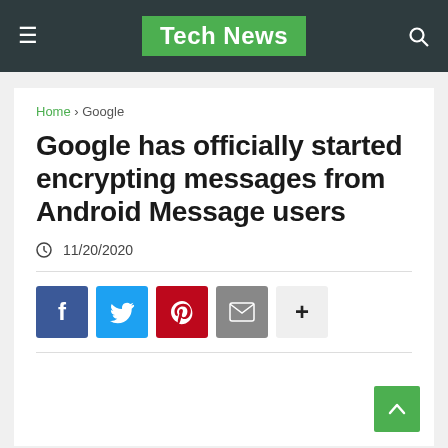Tech News
Home › Google
Google has officially started encrypting messages from Android Message users
11/20/2020
[Figure (infographic): Social sharing buttons: Facebook (blue), Twitter (light blue), Pinterest (red), Email (grey), and a plus (+) button for more sharing options.]